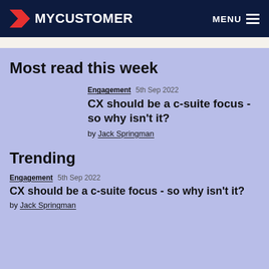MYCUSTOMER   MENU
Most read this week
Engagement  5th Sep 2022
CX should be a c-suite focus - so why isn't it?
by Jack Springman
Trending
Engagement  5th Sep 2022
CX should be a c-suite focus - so why isn't it?
by Jack Springman